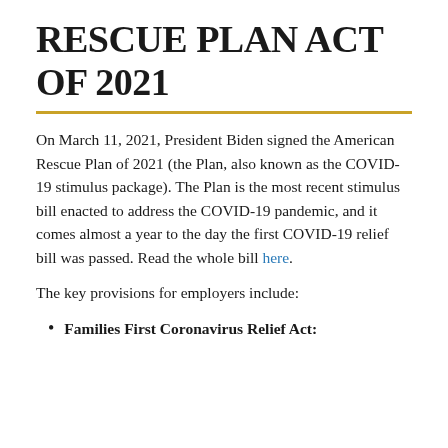RESCUE PLAN ACT OF 2021
On March 11, 2021, President Biden signed the American Rescue Plan of 2021 (the Plan, also known as the COVID-19 stimulus package). The Plan is the most recent stimulus bill enacted to address the COVID-19 pandemic, and it comes almost a year to the day the first COVID-19 relief bill was passed. Read the whole bill here.
The key provisions for employers include:
Families First Coronavirus Relief Act: